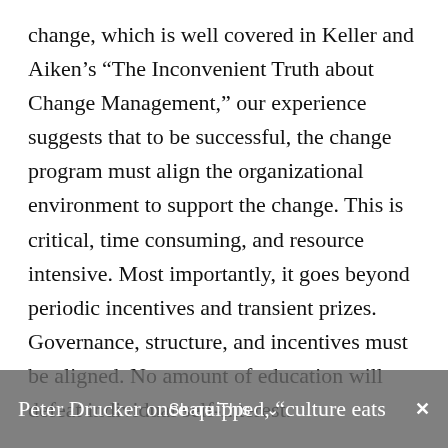change, which is well covered in Keller and Aiken’s “The Inconvenient Truth about Change Management,” our experience suggests that to be successful, the change program must align the organizational environment to support the change. This is critical, time consuming, and resource intensive. Most importantly, it goes beyond periodic incentives and transient prizes. Governance, structure, and incentives must be aligned. No amount of education will defeat individual self-interest.
Peter Drucker once quipped, “culture eats strategy for breakfast.” As you probably